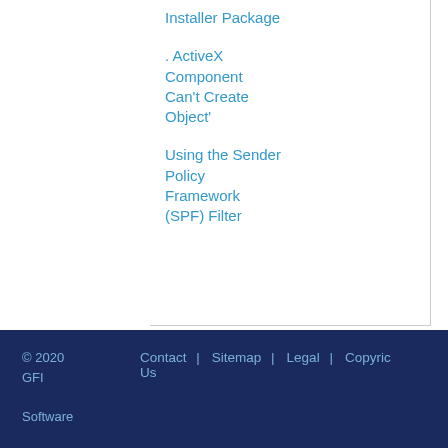Installer Package
. ActiveX Component Can't Create Object'
Using the Sender Policy Framework (SPF) Filter
© 2020 GFI Software   Contact Us  |  Sitemap  |  Legal  |  Copyrig...